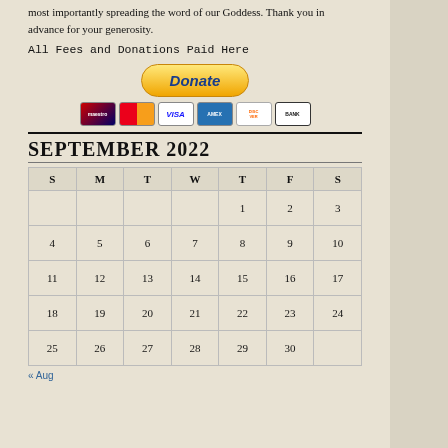most importantly spreading the word of our Goddess. Thank you in advance for your generosity.
All Fees and Donations Paid Here
[Figure (other): PayPal Donate button with payment card icons (Maestro, MasterCard, Visa, American Express, Discover, Bank)]
SEPTEMBER 2022
| S | M | T | W | T | F | S |
| --- | --- | --- | --- | --- | --- | --- |
|  |  |  |  | 1 | 2 | 3 |
| 4 | 5 | 6 | 7 | 8 | 9 | 10 |
| 11 | 12 | 13 | 14 | 15 | 16 | 17 |
| 18 | 19 | 20 | 21 | 22 | 23 | 24 |
| 25 | 26 | 27 | 28 | 29 | 30 |  |
« Aug